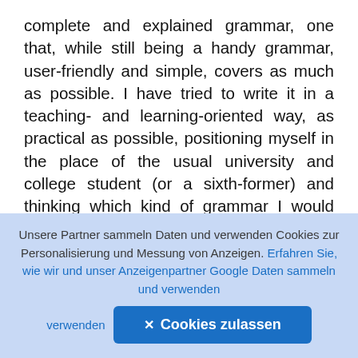complete and explained grammar, one that, while still being a handy grammar, user-friendly and simple, covers as much as possible. I have tried to write it in a teaching- and learning-oriented way, as practical as possible, positioning myself in the place of the usual university and college student (or a sixth-former) and thinking which kind of grammar I would like to have: one that helps me to learn the language, with explanations, with examples, etc., avoiding very advanced stages but at the same time without falling too short. In the course of have observed that a lot of instructors like tea the language directly from the grammar. Although my personal preference is using a textbook and
Unsere Partner sammeln Daten und verwenden Cookies zur Personalisierung und Messung von Anzeigen. Erfahren Sie, wie wir und unser Anzeigenpartner Google Daten sammeln und verwenden